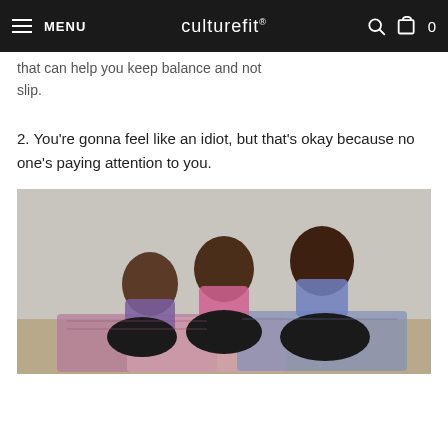MENU | culturefit® | [search] [cart] 0
that can help you keep balance and not slip.
2. You're gonna feel like an idiot, but that's okay because no one's paying attention to you.
[Figure (photo): Three women of color sitting cross-legged in yoga meditation pose on colorful yoga mats, wearing matching patterned sports bras and leggings, in a studio with concrete wall background.]